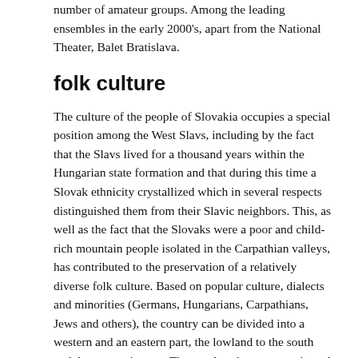number of amateur groups. Among the leading ensembles in the early 2000's, apart from the National Theater, Balet Bratislava.
folk culture
The culture of the people of Slovakia occupies a special position among the West Slavs, including by the fact that the Slavs lived for a thousand years within the Hungarian state formation and that during this time a Slovak ethnicity crystallized which in several respects distinguished them from their Slavic neighbors. This, as well as the fact that the Slovaks were a poor and child-rich mountain people isolated in the Carpathian valleys, has contributed to the preservation of a relatively diverse folk culture. Based on popular culture, dialects and minorities (Germans, Hungarians, Carpathians, Jews and others), the country can be divided into a western and an eastern part, the lowland to the south and the mountain area. These cultural areas are oriented towards different sources of impulse. Since the Middle Ages, there was a migration of Carpathian shepherd culture from the east, which prevailed in the high-level